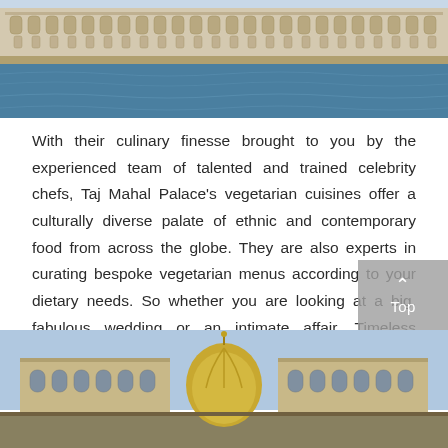[Figure (photo): Aerial/waterfront view of the Taj Mahal Palace hotel building with water in the foreground]
With their culinary finesse brought to you by the experienced team of talented and trained celebrity chefs, Taj Mahal Palace's vegetarian cuisines offer a culturally diverse palate of ethnic and contemporary food from across the globe. They are also experts in curating bespoke vegetarian menus according to your dietary needs. So whether you are looking at a big, fabulous wedding or an intimate affair, Timeless Weddings at Taj assure you of experiences that you will relish and cherish with your loved ones.
[Figure (photo): Ground-level view of Taj Mahal Palace hotel facade with dome and ornate architecture against a blue sky]